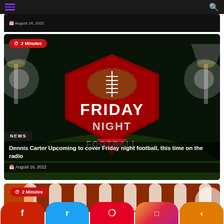Navigation bar with hamburger menu and search icon
[Figure (screenshot): Partially visible top card showing a date: August 24, 2022]
[Figure (photo): Friday Night Football promotional image with stadium lights, red shield logo. Badge: 2 Minutes. Category: NEWS. Title: Dennis Carter Upcoming to cover Friday night football, this time on the radio. Date: August 16, 2022]
NEWS
Dennis Carter Upcoming to cover Friday night football, this time on the radio
August 16, 2022
[Figure (photo): Partially visible bottom card with football close-up image. Badge: 2 Minutes.]
Social share buttons: Facebook, Twitter, Pinterest, Instagram, Share